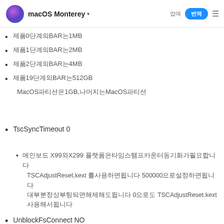macOS Monterey
제품0단계의BAR는1MB
제품1단계의BAR는2MB
제품2단계의BAR는4MB
제품19단계의BAR는512GB MacOS파티션은1GB,나머지는MacOS파티션
TscSyncTimeout 0
메인보드 X99와X299 플랫폼은타임스탬프카운터동기화가필요합니다 TSCAdjustReset.kext 를사용하면됩니다 500000으로설정하면됩니다 대부분정상부팅되면해제해도됩니다 0으로도 TSCAdjustReset.kext 사용해서됩니다
UnblockFsConnect NO